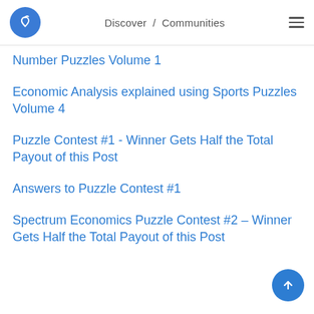Discover / Communities
Number Puzzles Volume 1
Economic Analysis explained using Sports Puzzles Volume 4
Puzzle Contest #1 - Winner Gets Half the Total Payout of this Post
Answers to Puzzle Contest #1
Spectrum Economics Puzzle Contest #2 – Winner Gets Half the Total Payout of this Post